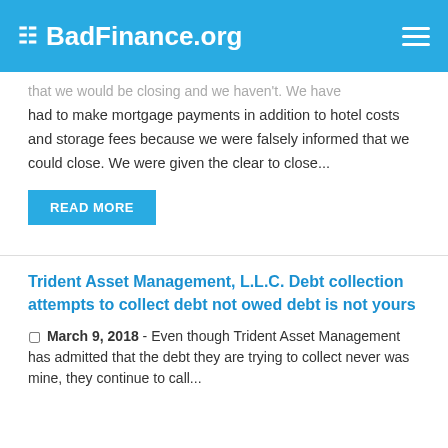BadFinance.org
that we would be closing and we haven't. We have had to make mortgage payments in addition to hotel costs and storage fees because we were falsely informed that we could close. We were given the clear to close...
READ MORE
Trident Asset Management, L.L.C. Debt collection attempts to collect debt not owed debt is not yours
March 9, 2018 - Even though Trident Asset Management has admitted that the debt they are trying to collect never was mine, they continue to call...